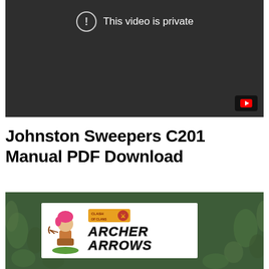[Figure (screenshot): Dark video player showing 'This video is private' message with exclamation icon and YouTube button in bottom right corner.]
Johnston Sweepers C201 Manual PDF Download
[Figure (photo): Photo of a Clash of Clans 'Archer Arrows' card/product displayed on grass, featuring the Archer character and Clash of Clans logo.]